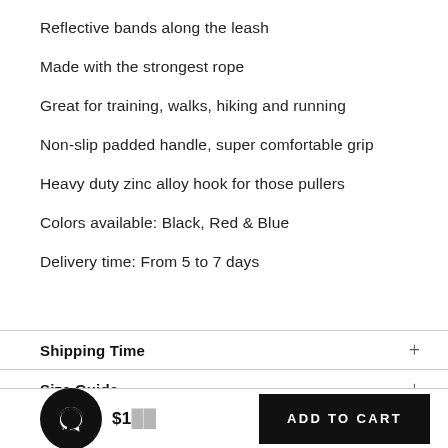Reflective bands along the leash
Made with the strongest rope
Great for training, walks, hiking and running
Non-slip padded handle, super comfortable grip
Heavy duty zinc alloy hook for those pullers
Colors available: Black, Red & Blue
Delivery time: From 5 to 7 days
Shipping Time
Size Guide
D... Information
$1...
ADD TO CART